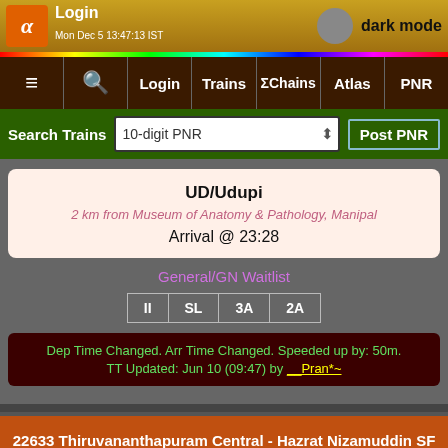Login | dark mode | Mon Dec 5 13:47:13 IST
≡ | Search | Login | Trains | ΣChains | Atlas | PNR
Search Trains | 10-digit PNR | Post PNR
UD/Udupi
2 km from Museum of Anatomy & Pathology, Manipal
Arrival @ 23:28
General/GN Waitlist
II | SL | 3A | 2A
Dep Time Changed. Arr Time Changed. Speeded up by: 50m. TT Updated: Jun 10 (09:47) by __Pran*~
22633 Thiruvananthapuram Central - Hazrat Nizamuddin SF Express (via Alappuzha) (PT)
W
Scroll to Top